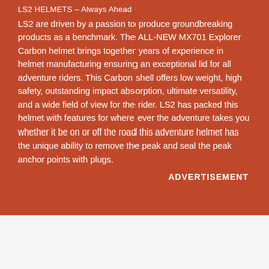LS2 HELMETS – Always Ahead
LS2 are driven by a passion to produce groundbreaking products as a benchmark. The ALL-NEW MX701 Explorer Carbon helmet brings together years of experience in helmet manufacturing ensuring an exceptional lid for all adventure riders. This Carbon shell offers low weight, high safety, outstanding impact absorption, ultimate versatility, and a wide field of view for the rider. LS2 has packed this helmet with features for where ever the adventure takes you whether it be on or off the road this adventure helmet has the unique ability to remove the peak and seal the peak anchor points with plugs.
ADVERTISEMENT